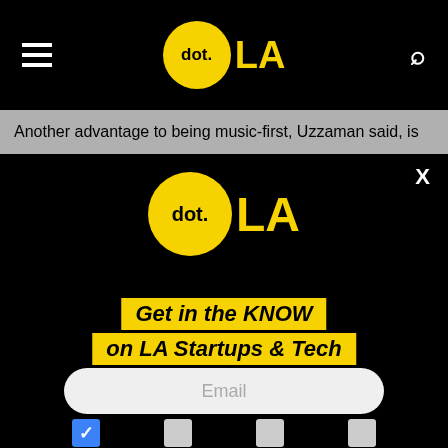dot.LA navigation bar with hamburger menu, dot.LA logo, and search icon
Another advantage to being music-first, Uzzaman said, is
[Figure (logo): dot.LA logo - yellow circle with 'dot.' text and 'LA' in yellow on black background]
Get in the KNOW on LA Startups & Tech
Email
[Figure (other): Row of checkboxes at bottom - one checked (blue), three unchecked (gray)]